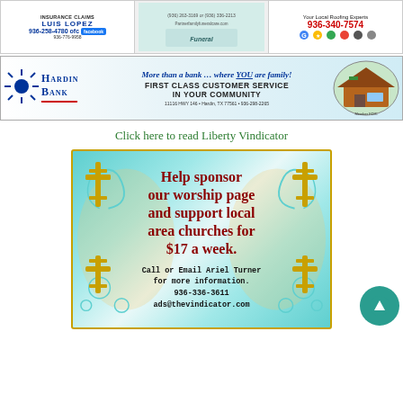[Figure (photo): Top advertisement strip with three ads: Luis Lopez insurance claims (936-258-4780), a middle decorative/photo ad, and a roofing expert ad (936-340-7574)]
[Figure (photo): Hardin Bank banner advertisement: 'More than a bank … where YOU are family! FIRST CLASS CUSTOMER SERVICE IN YOUR COMMUNITY. 11116 HWY 146, Hardin, TX 77561, 936-298-2265']
Click here to read Liberty Vindicator
[Figure (infographic): Help sponsor our worship page and support local area churches for $17 a week. Call or Email Ariel Turner for more information. 936-336-3611 ads@thevindicator.com. Teal/turquoise background with gold cross decorations.]